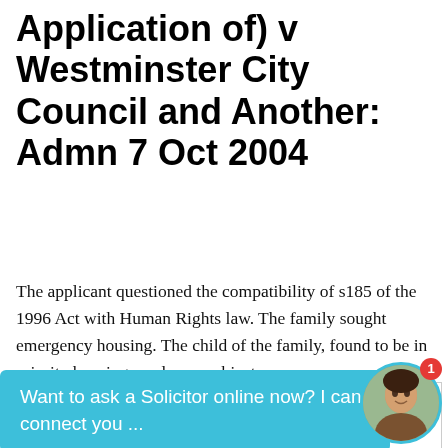Application of) v Westminster City Council and Another: Admn 7 Oct 2004
The applicant questioned the compatibility of s185 of the 1996 Act with Human Rights law. The family sought emergency housing. The child of the family, found to be in priority housing need, was subject
[Figure (screenshot): Chat bubble widget with text 'Want to ask a Solicitor online now? I can connect you ...' overlaid on the page, with an avatar photo of a woman and a red notification badge showing '1']
[Figure (screenshot): Advertisement for DTEN Official Site. Title: 'DTEN® Official Site'. Subtitle: 'Available in 55", 75", Dual 55" and Dual 75"'. Brand: 'DTEN'. Button: 'Learn More']